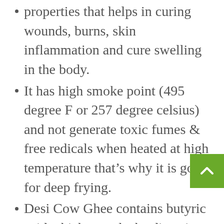properties that helps in curing wounds, burns, skin inflammation and cure swelling in the body.
It has high smoke point (495 degree F or 257 degree celsius) and not generate toxic fumes & free redicals when heated at high temperature that’s why it is good for deep frying.
Desi Cow Ghee contains butyric acid which sounds the digestive system and nourish the intestinal tract, prevent constipation and detoxify the toxins. This butyric acid improve metabolism and reduce obesity, a balanced diet for weight management.